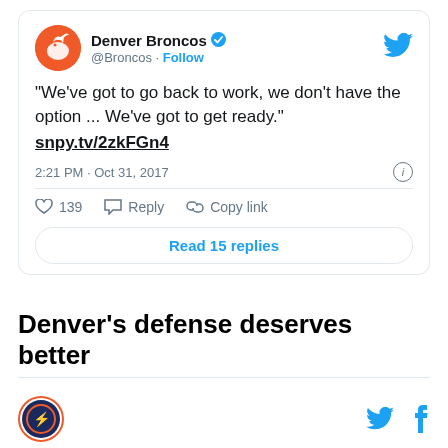[Figure (screenshot): Embedded tweet from @Broncos (Denver Broncos) with verified badge. Tweet text: "We've got to go back to work, we don't have the option ... We've got to get ready." snpy.tv/2zkFGn4. Posted 2:21 PM · Oct 31, 2017. 139 likes. Actions: Reply, Copy link. Read 15 replies button.]
Denver's defense deserves better
Site logo, Twitter bird icon, Facebook f icon